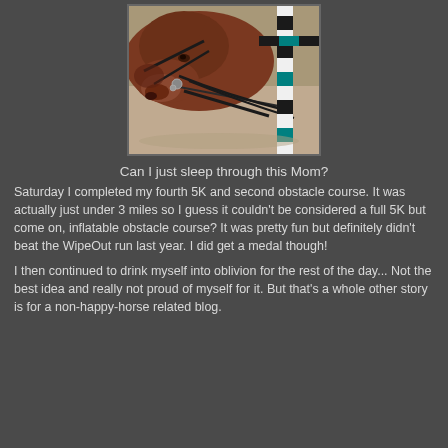[Figure (photo): Close-up photo of a brown horse's head with bridle/reins, next to a striped black, white, and teal obstacle pole, on a sandy ground surface.]
Can I just sleep through this Mom?
Saturday I completed my fourth 5K and second obstacle course. It was actually just under 3 miles so I guess it couldn't be considered a full 5K but come on, inflatable obstacle course? It was pretty fun but definitely didn't beat the WipeOut run last year. I did get a medal though!
I then continued to drink myself into oblivion for the rest of the day... Not the best idea and really not proud of myself for it. But that's a whole other story is for a non-happy-horse related blog.